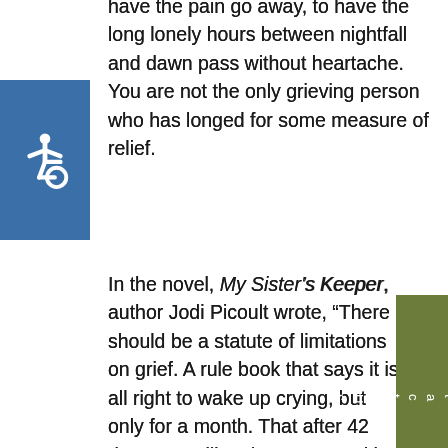have the pain go away, to have the long lonely hours between nightfall and dawn pass without heartache. You are not the only grieving person who has longed for some measure of relief.
[Figure (illustration): Accessibility icon — white wheelchair symbol on blue square background]
In the novel, My Sister's Keeper, author Jodi Picoult wrote, "There should be a statute of limitations on grief. A rule book that says it is all right to wake up crying, but only for a month. That after 42 days you will no longer turn with your heart racing, certain you have heard her call out your name."
No such rule book exists. Grief counselors and therapists tell us that the length of time it takes anyone to grieve the loss of someone they held